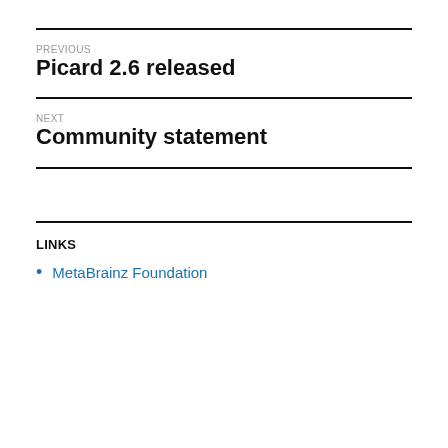PREVIOUS
Picard 2.6 released
NEXT
Community statement
LINKS
MetaBrainz Foundation